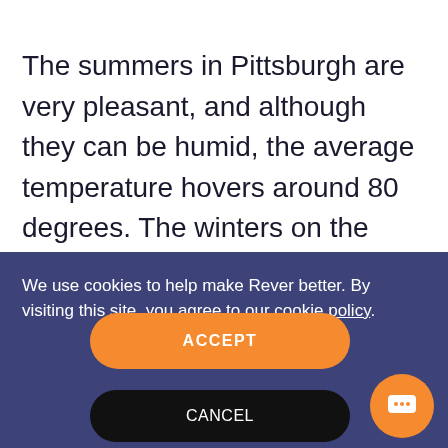The summers in Pittsburgh are very pleasant, and although they can be humid, the average temperature hovers around 80 degrees. The winters on the other hand can be brutal at times, and you'll want to reserve off-season rides for that occasional warmer day. Don't miss the fall foliage when the time comes as it makes for
We use cookies to help make Rever better. By visiting this site, you agree to our cookie policy.
ACCEPT
CANCEL